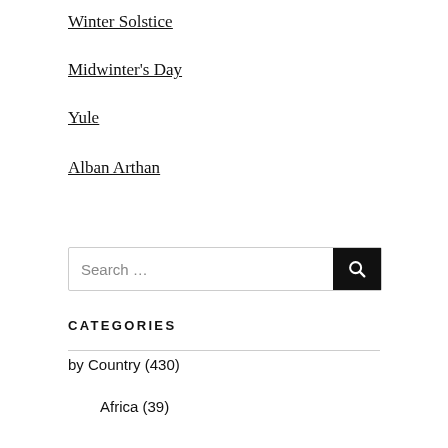Winter Solstice
Midwinter's Day
Yule
Alban Arthan
Search …
CATEGORIES
by Country (430)
Africa (39)